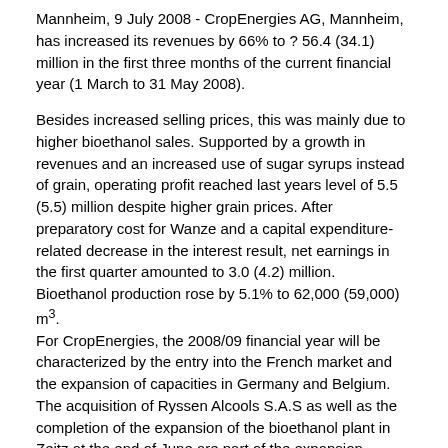Mannheim, 9 July 2008 - CropEnergies AG, Mannheim, has increased its revenues by 66% to ? 56.4 (34.1) million in the first three months of the current financial year (1 March to 31 May 2008).
Besides increased selling prices, this was mainly due to higher bioethanol sales. Supported by a growth in revenues and an increased use of sugar syrups instead of grain, operating profit reached last years level of 5.5 (5.5) million despite higher grain prices. After preparatory cost for Wanze and a capital expenditure-related decrease in the interest result, net earnings in the first quarter amounted to 3.0 (4.2) million.
Bioethanol production rose by 5.1% to 62,000 (59,000) m³.
For CropEnergies, the 2008/09 financial year will be characterized by the entry into the French market and the expansion of capacities in Germany and Belgium. The acquisition of Ryssen Alcools S.A.S as well as the completion of the expansion of the bioethanol plant in Zeitz at the end of June are part of the expansion program of CropEnergies. At the end of 2008, another plant with an annual capacity of up to 300,000 m³ will be started up in Wanze.